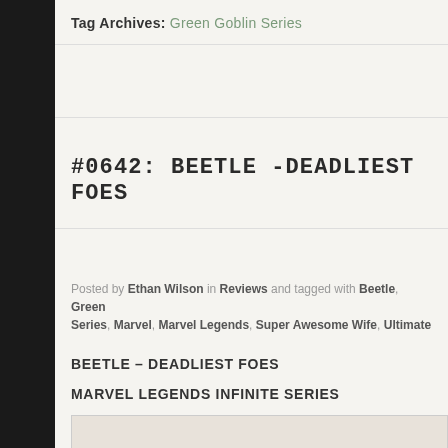Tag Archives: Green Goblin Series
#0642: BEETLE -DEADLIEST FOES
Posted by Ethan Wilson in Reviews and tagged with Beetle, Green Series, Marvel, Marvel Legends, Super Awesome Wife, Ultimate
BEETLE – DEADLIEST FOES
MARVEL LEGENDS INFINITE SERIES
[Figure (photo): Product photo of Beetle figure from Deadliest Foes Marvel Legends Infinite Series]